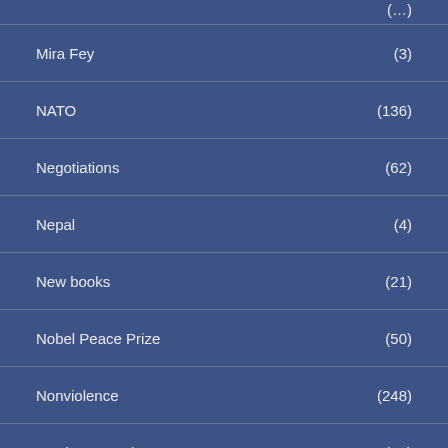Mira Fey (3)
NATO (136)
Negotiations (62)
Nepal (4)
New books (21)
Nobel Peace Prize (50)
Nonviolence (248)
Norden as region (29)
NORDIC – NORDISKA artiklar (23)